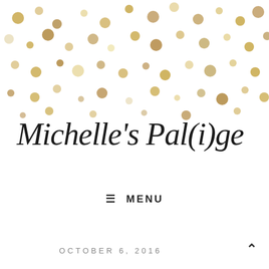[Figure (illustration): Gold and white confetti dots scattered across the upper portion of the page on a white background]
Michelle's Pal(i)ge
≡ MENU
OCTOBER 6, 2016